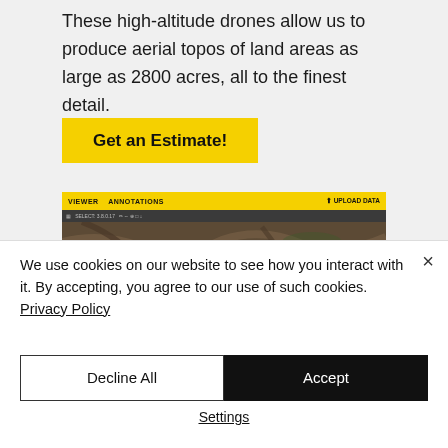These high-altitude drones allow us to produce aerial topos of land areas as large as 2800 acres, all to the finest detail.
[Figure (screenshot): Button labeled 'Get an Estimate!' with yellow background]
[Figure (screenshot): Screenshot of a web application showing an aerial topographic map view with dark toolbar and yellow navigation bar]
We use cookies on our website to see how you interact with it. By accepting, you agree to our use of such cookies. Privacy Policy
[Figure (other): Cookie consent banner with Decline All and Accept buttons and Settings link]